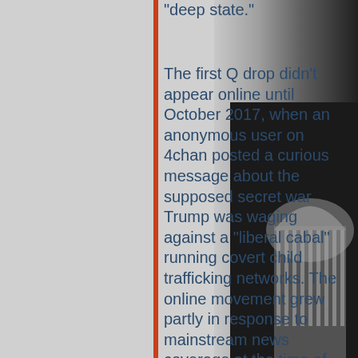“deep state.”
The first Q drop didn’t appear online until October 2017, when an anonymous user on 4chan posted a curious message about the supposed secret war Trump was waging against a “liberal cabal” running covert child trafficking networks. The online movement grew partly in response to mainstream news coverage at the time of Mueller’s investigation into allegations that members of
[Figure (photo): Grayscale photo of the United States Capitol building dome, visible in the right portion of the page against a dark background.]